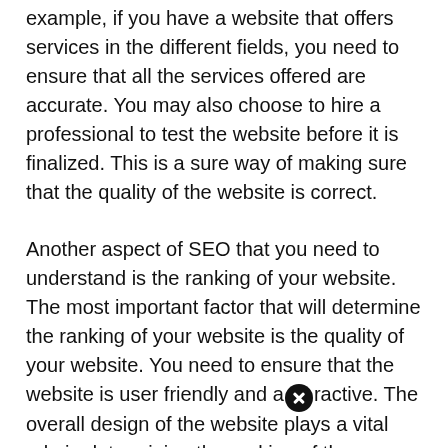example, if you have a website that offers services in the different fields, you need to ensure that all the services offered are accurate. You may also choose to hire a professional to test the website before it is finalized. This is a sure way of making sure that the quality of the website is correct.
Another aspect of SEO that you need to understand is the ranking of your website. The most important factor that will determine the ranking of your website is the quality of your website. You need to ensure that the website is user friendly and attractive. The overall design of the website plays a vital role in determining the ranking of the website.